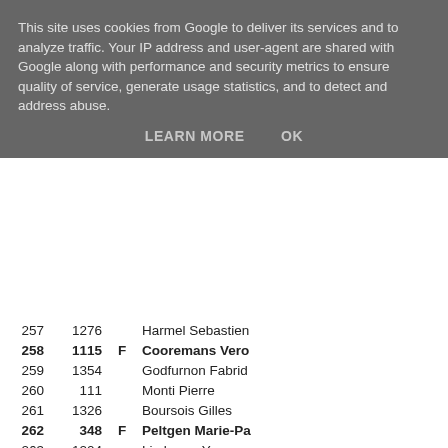This site uses cookies from Google to deliver its services and to analyze traffic. Your IP address and user-agent are shared with Google along with performance and security metrics to ensure quality of service, generate usage statistics, and to detect and address abuse.
LEARN MORE   OK
| Rank | Num | F | Name |
| --- | --- | --- | --- |
| 257 | 1276 |  | Harmel Sebastien |
| 258 | 1115 | F | Cooremans Vero |
| 259 | 1354 |  | Godfurnon Fabrice |
| 260 | 111 |  | Monti Pierre |
| 261 | 1326 |  | Boursois Gilles |
| 262 | 348 | F | Peltgen Marie-Pa |
| 263 | 1204 |  | Limbourg Yoran |
| 264 | 1159 |  | Decamp Stephan |
| 265 | 1325 |  | Degimbe Christop |
| 266 | 1339 |  | Delhaye Herve |
| 267 | 399 |  | Verburgh Dimitri |
| 268 | 1226 |  | Hugnen Frederic |
| 269 | 1351 |  | Femmerman Max |
| 270 | 262 |  | Severino Thomas |
| 271 | 1313 |  | Delvaux Yves |
| 272 | 1303 |  | Vrancken Mario |